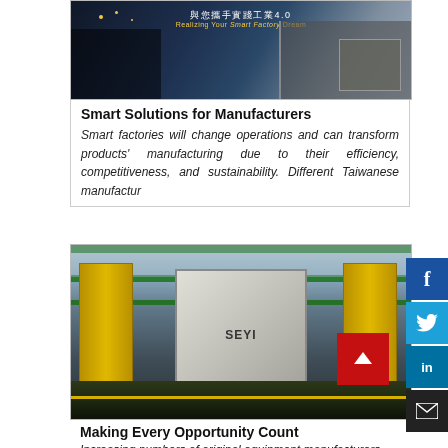[Figure (photo): Smart factory promotional banner with Chinese text '與您攜手實踐工業4.0' and English text 'Realizing Your Smart Factory Dream', featuring a person holding a tablet and industrial machinery]
Smart Solutions for Manufacturers
Smart factories will change operations and can transform products' manufacturing due to their efficiency, competitiveness, and sustainability. Different Taiwanese manufactur
[Figure (photo): Interior of a large industrial factory showing a SEYI press machine in the foreground with yellow structural supports, green overhead beams, and a red back-to-top button overlay. Factory floor with yellow safety lines.]
Making Every Opportunity Count
Increasing numbers of original equipment manufacturers